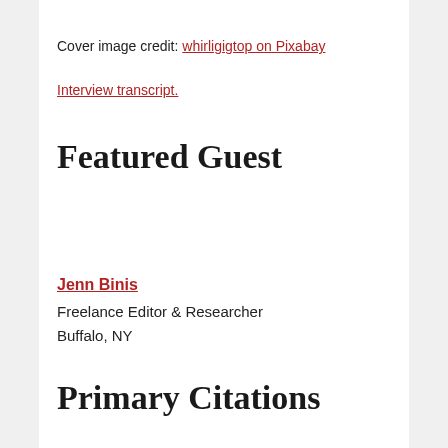Cover image credit: whirligigtop on Pixabay
Interview transcript.
Featured Guest
Jenn Binis
Freelance Editor & Researcher
Buffalo, NY
Primary Citations